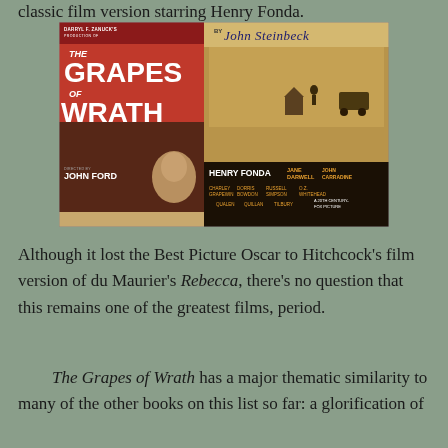classic film version starring Henry Fonda.
[Figure (photo): Movie poster for The Grapes of Wrath — Darryl F. Zanuck's production, by John Steinbeck, directed by John Ford, starring Henry Fonda, Jane Darwell, John Carradine, Charley Grapewin, Dorris Bowdon, Russell Simpson, O.Z. Whitehead, John Qualen, Eddie Quillan, Zeffie Tilbury. A 20th Century-Fox Picture.]
Although it lost the Best Picture Oscar to Hitchcock's film version of du Maurier's Rebecca, there's no question that this remains one of the greatest films, period.
The Grapes of Wrath has a major thematic similarity to many of the other books on this list so far: a glorification of